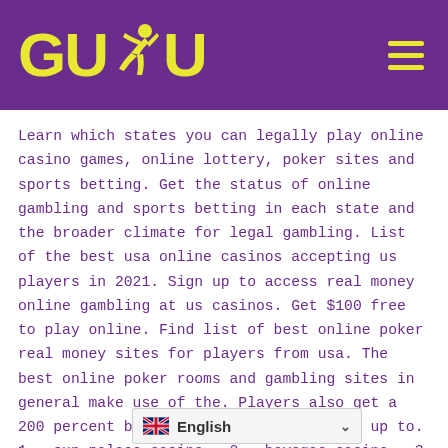[Figure (logo): GUBU logo with yellow text and runner silhouette on purple background, with hamburger menu icon]
Learn which states you can legally play online casino games, online lottery, poker sites and sports betting. Get the status of online gambling and sports betting in each state and the broader climate for legal gambling. List of the best usa online casinos accepting us players in 2021. Sign up to access real money online gambling at us casinos. Get $100 free to play online. Find list of best online poker real money sites for players from usa. The best online poker rooms and gambling sites in general make use of the. Players also get a 200 percent bonus on the first deposit, up to. 1 – sun palace casino · 2 – bovegas casino · 3 – café casino · 4 – las vegas usa casino · 5 – crypto reels casino · 6 – slots of. Instant play casino games at the best online casinos, without deposit! free signup welcome bonuses codes! win real money! also for mobile! select your. Remember that safety should always come first – an amazing bonus won't do you any good if your casino puts your cash-out request on permanent hold for no. Plus, unlike playing at a real casino, you not
[Figure (screenshot): English language selector widget with UK flag and chevron]